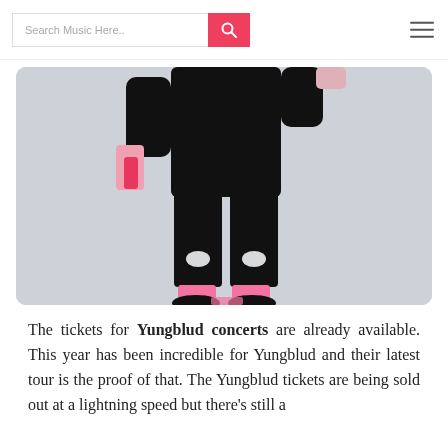Search Music Here..
[Figure (photo): Person in black outfit with pink socks and black shoes, jumping or posing dynamically against a light grey background, holding a pink object]
The tickets for Yungblud concerts are already available. This year has been incredible for Yungblud and their latest tour is the proof of that. The Yungblud tickets are being sold out at a lightning speed but there's still a